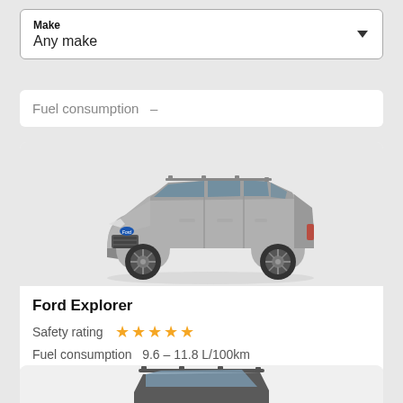Make
Any make
Fuel consumption  -
[Figure (photo): Ford Explorer SUV vehicle image, silver/grey color, front three-quarter view on light grey background]
Ford Explorer
Safety rating ★★★★★
Fuel consumption  9.6 – 11.8 L/100km
[Figure (photo): Partial view of a second SUV vehicle, dark colored, top portion visible at bottom of page]